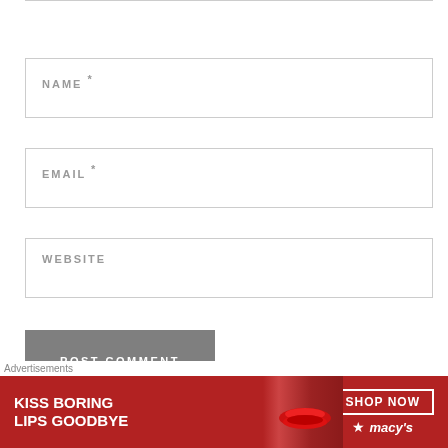NAME *
EMAIL *
WEBSITE
POST COMMENT
Notify me of new comments via email
Advertisements
[Figure (screenshot): Macy's advertisement banner: 'KISS BORING LIPS GOODBYE' with SHOP NOW button and Macy's star logo on dark red background with model photo]